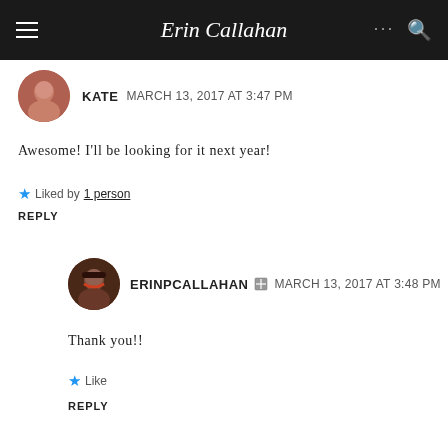Erin Callahan
KATE    MARCH 13, 2017 AT 3:47 PM
Awesome! I'll be looking for it next year!
Liked by 1 person
REPLY
ERINPCALLAHAN    MARCH 13, 2017 AT 3:48 PM
Thank you!!
Like
REPLY